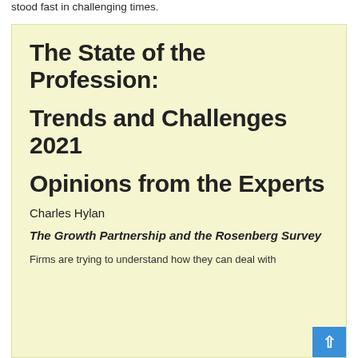stood fast in challenging times.
The State of the Profession:
Trends and Challenges 2021
Opinions from the Experts
Charles Hylan
The Growth Partnership and the Rosenberg Survey
Firms are trying to understand how they can deal with